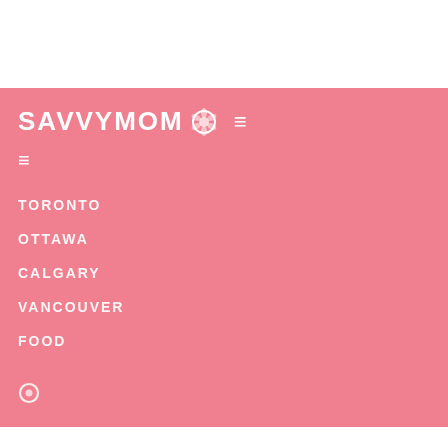SAVVYMOM.CA
TORONTO
OTTAWA
CALGARY
VANCOUVER
FOOD
Kiddie Culinary Training
SavvyMom  April 12, 2016